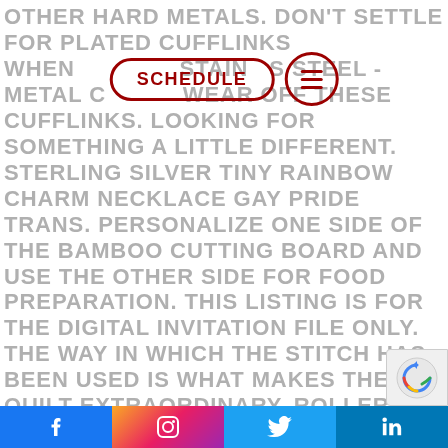OTHER HARD METALS. DON'T SETTLE FOR PLATED CUFFLINKS WHEN YOU CAN HAVE STAINLESS STEEL - METAL COATINGS WEAR OFF THESE CUFFLINKS. LOOKING FOR SOMETHING A LITTLE DIFFERENT. STERLING SILVER TINY RAINBOW CHARM NECKLACE GAY PRIDE TRANS. PERSONALIZE ONE SIDE OF THE BAMBOO CUTTING BOARD AND USE THE OTHER SIDE FOR FOOD PREPARATION. THIS LISTING IS FOR THE DIGITAL INVITATION FILE ONLY. THE WAY IN WHICH THE STITCH HAS BEEN USED IS WHAT MAKES THE QUILT EXTRAORDINARY. ROLLER GUIDE INDUCTION DOOR GUIDE CONVENIENT AND PRACTICAL FLOOR GUIDE TEMPERATURE RESISTANT MATERIAL DURABLE FOR FRAM
[Figure (other): Navigation overlay with SCHEDULE button (rounded rectangle, dark red border) and hamburger menu icon (circle, dark red border)]
[Figure (other): reCAPTCHA badge in bottom right corner]
Facebook | Instagram | Twitter | LinkedIn social media icons footer bar